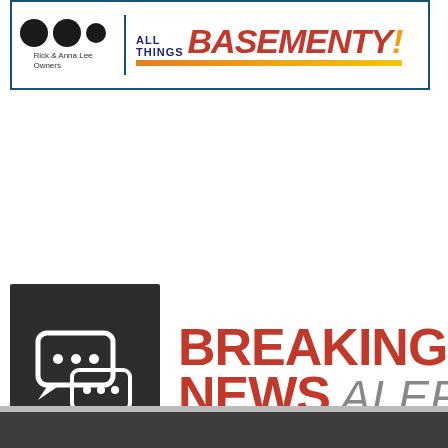[Figure (logo): All Things Basementy logo banner with owner portraits (Rick & Anna Lee, Owners), blue border, red italic Basementy text, and gold underline bar]
[Figure (logo): Breaking News Alerts logo: dark square with white chat bubble icons on left, bold red BREAKING NEWS and grey italic ALERTS text on right]